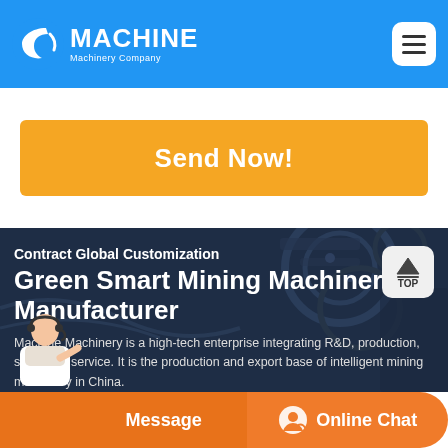MACHINE Machinery Company
Send Now!
Contract Global Customization
Green Smart Mining Machinery Manufacturer
Machine Machinery is a high-tech enterprise integrating R&D, production, sales and service. It is the production and export base of intelligent mining machinery in China.
Message | Online Chat